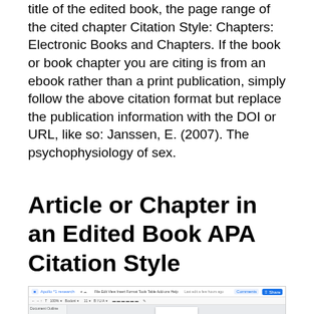title of the edited book, the page range of the cited chapter Citation Style: Chapters: Electronic Books and Chapters. If the book or book chapter you are citing is from an ebook rather than a print publication, simply follow the above citation format but replace the publication information with the DOI or URL, like so: Janssen, E. (2007). The psychophysiology of sex.
Article or Chapter in an Edited Book APA Citation Style
[Figure (screenshot): Screenshot of a Google Docs document interface showing the toolbar, menu bar, and document outline panel]